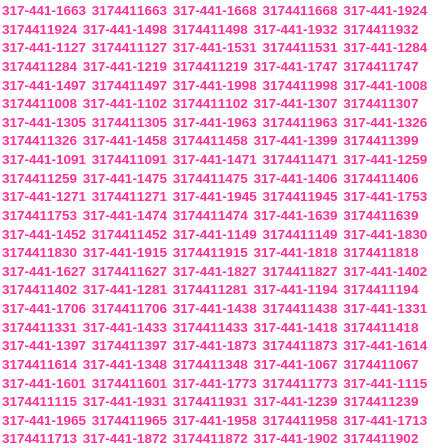317-441-1663 3174411663 317-441-1668 3174411668 317-441-1924 3174411924 317-441-1498 3174411498 317-441-1932 3174411932 317-441-1127 3174411127 317-441-1531 3174411531 317-441-1284 3174411284 317-441-1219 3174411219 317-441-1747 3174411747 317-441-1497 3174411497 317-441-1998 3174411998 317-441-1008 3174411008 317-441-1102 3174411102 317-441-1307 3174411307 317-441-1305 3174411305 317-441-1963 3174411963 317-441-1326 3174411326 317-441-1458 3174411458 317-441-1399 3174411399 317-441-1091 3174411091 317-441-1471 3174411471 317-441-1259 3174411259 317-441-1475 3174411475 317-441-1406 3174411406 317-441-1271 3174411271 317-441-1945 3174411945 317-441-1753 3174411753 317-441-1474 3174411474 317-441-1639 3174411639 317-441-1452 3174411452 317-441-1149 3174411149 317-441-1830 3174411830 317-441-1915 3174411915 317-441-1818 3174411818 317-441-1627 3174411627 317-441-1827 3174411827 317-441-1402 3174411402 317-441-1281 3174411281 317-441-1194 3174411194 317-441-1706 3174411706 317-441-1438 3174411438 317-441-1331 3174411331 317-441-1433 3174411433 317-441-1418 3174411418 317-441-1397 3174411397 317-441-1873 3174411873 317-441-1614 3174411614 317-441-1348 3174411348 317-441-1067 3174411067 317-441-1601 3174411601 317-441-1773 3174411773 317-441-1115 3174411115 317-441-1931 3174411931 317-441-1239 3174411239 317-441-1965 3174411965 317-441-1958 3174411958 317-441-1713 3174411713 317-441-1872 3174411872 317-441-1902 3174411902 317-441-1421 3174411421 317-441-1503 3174411503 317-441-1022 3174411022 317-441-1228 3174411228 317-441-1462 3174411462